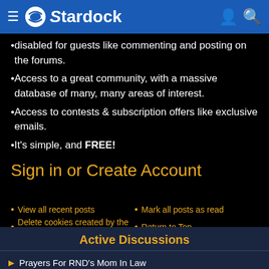Stardock navigation bar
disabled for guests like commenting and posting on the forums.
Access to a great community, with a massive database of many, many areas of interest.
Access to contests & subscription offers like exclusive emails.
It's simple, and FREE!
Sign in or Create Account
View all recent posts
Mark all posts as read
Delete cookies created by the forum
Return to Top
Active Discussions
Prayers For RND's Mom In Law
Problems with players of different alignments allying in mp? GalCiv3